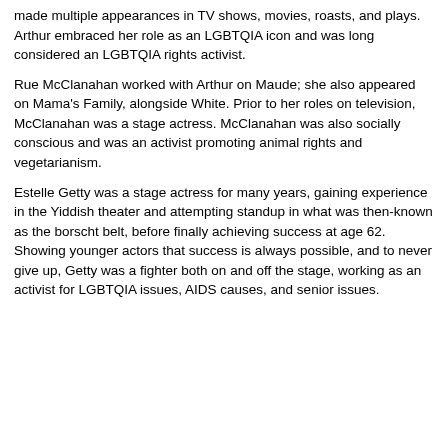made multiple appearances in TV shows, movies, roasts, and plays. Arthur embraced her role as an LGBTQIA icon and was long considered an LGBTQIA rights activist.
Rue McClanahan worked with Arthur on Maude; she also appeared on Mama's Family, alongside White. Prior to her roles on television, McClanahan was a stage actress. McClanahan was also socially conscious and was an activist promoting animal rights and vegetarianism.
Estelle Getty was a stage actress for many years, gaining experience in the Yiddish theater and attempting standup in what was then-known as the borscht belt, before finally achieving success at age 62. Showing younger actors that success is always possible, and to never give up, Getty was a fighter both on and off the stage, working as an activist for LGBTQIA issues, AIDS causes, and senior issues.